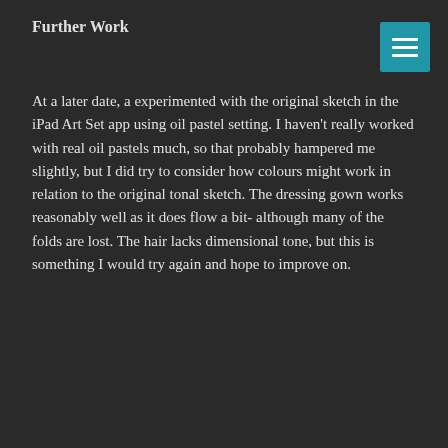Further Work
At a later date, a experimented with the original sketch in the iPad Art Set app using oil pastel setting. I haven't really worked with real oil pastels much, so that probably hampered me slightly, but I did try to consider how colours might work in relation to the original tonal sketch. The dressing gown works reasonably well as it does flow a bit- although many of the folds are lost. The hair lacks dimensional tone, but this is something I would try again and hope to improve on.